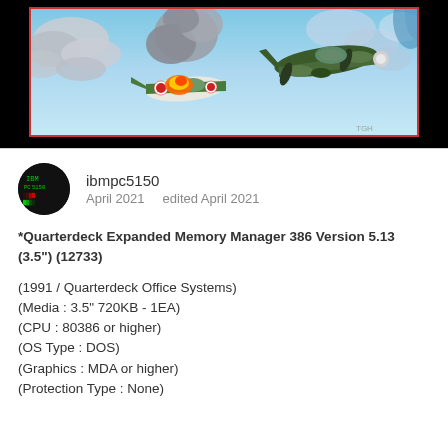[Figure (illustration): Screenshot of a WWII flight combat game showing two military aircraft (one Japanese Zero fighter with rising sun markings on fire/damaged, and one green Allied aircraft) flying against a blue cloudy sky background. Image has a red border and black background surround. Watermark 'TGH' visible in lower right.]
ibmpc5150
April 2021   edited April 2021
*Quarterdeck Expanded Memory Manager 386 Version 5.13 (3.5") (12733)

(1991 / Quarterdeck Office Systems)
(Media : 3.5" 720KB - 1EA)
(CPU : 80386 or higher)
(OS Type : DOS)
(Graphics : MDA or higher)
(Protection Type : None)